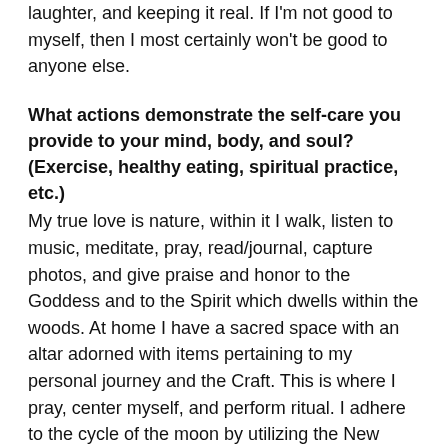laughter, and keeping it real. If I'm not good to myself, then I most certainly won't be good to anyone else.
What actions demonstrate the self-care you provide to your mind, body, and soul? (Exercise, healthy eating, spiritual practice, etc.)
My true love is nature, within it I walk, listen to music, meditate, pray, read/journal, capture photos, and give praise and honor to the Goddess and to the Spirit which dwells within the woods. At home I have a sacred space with an altar adorned with items pertaining to my personal journey and the Craft. This is where I pray, center myself, and perform ritual. I adhere to the cycle of the moon by utilizing the New Moon for intention and meditation and the Full Moon to reflect, rest within and give thanks.
I love great conversation, good food and spirits, music,